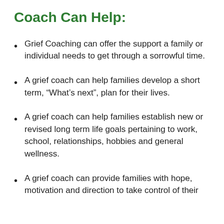Coach Can Help:
Grief Coaching can offer the support a family or individual needs to get through a sorrowful time.
A grief coach can help families develop a short term, “What’s next”, plan for their lives.
A grief coach can help families establish new or revised long term life goals pertaining to work, school, relationships, hobbies and general wellness.
A grief coach can provide families with hope, motivation and direction to take control of their